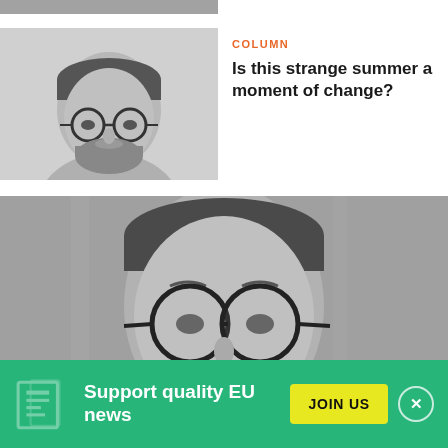[Figure (photo): Cropped top edge of a photo — partial image strip at very top of page]
[Figure (photo): Black and white portrait of a man with round glasses and a beard, wearing a light shirt]
COLUMN
Is this strange summer a moment of change?
[Figure (photo): Large black and white close-up portrait of a man with round glasses looking at the camera]
Support quality EU news
JOIN US